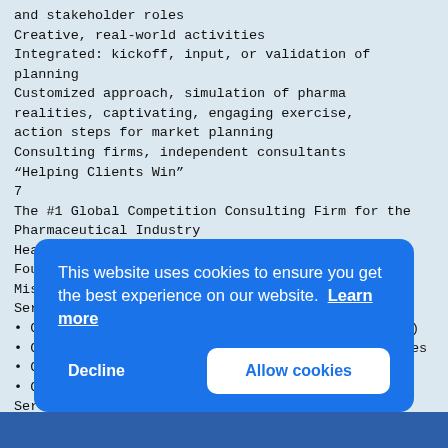and stakeholder roles
Creative, real-world activities
Integrated: kickoff, input, or validation of planning
Customized approach, simulation of pharma realities, captivating, engaging exercise, action steps for market planning
Consulting firms, independent consultants
“Helping Clients Win”
7
The #1 Global Competition Consulting Firm for the Pharmaceutical Industry
Headquartered in Morristown, N.J.
Founded in 1999
Mission: Helping Clients Win
Services:
• Competitive Simulations (Business War Games 2.0)
• Competitive Product Launches and Counter-Launches
• Customized Competitive Workshops
• Competitive Analysis, Strategy, and Planning Services
• Co... across... them... stak... Clie... heal...
Tele...
Email...
Webs...
[Figure (screenshot): Cookie consent banner overlay with blue background. Text: 'This website uses cookies to ensure you get the best experience on our website. Learn more'. Two buttons: 'Decline' (white text) and 'Allow cookies' (blue text on white background).]